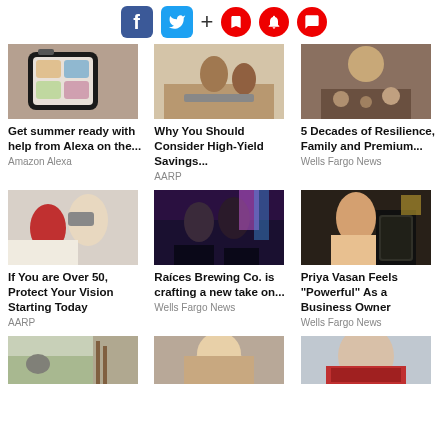[Figure (other): Social media and action icon bar: Facebook, Twitter, plus, bookmark, bell, comment icons]
[Figure (photo): Smartphone screen showing app icons]
Get summer ready with help from Alexa on the...
Amazon Alexa
[Figure (photo): Two people looking at a laptop in a kitchen]
Why You Should Consider High-Yield Savings...
AARP
[Figure (photo): Person's hands working with food in a strainer]
5 Decades of Resilience, Family and Premium...
Wells Fargo News
[Figure (photo): Doctor examining patient's eyes]
If You are Over 50, Protect Your Vision Starting Today
AARP
[Figure (photo): Two people smiling at a bar with drinks]
Raíces Brewing Co. is crafting a new take on...
Wells Fargo News
[Figure (photo): Woman smiling holding a tablet device]
Priya Vasan Feels “Powerful” As a Business Owner
Wells Fargo News
[Figure (photo): Eagle near a wooden fence (partially visible)]
[Figure (photo): Blonde woman portrait (partially visible)]
[Figure (photo): Man in red jersey (partially visible)]